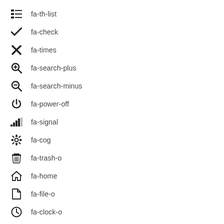fa-th-list
fa-check
fa-times
fa-search-plus
fa-search-minus
fa-power-off
fa-signal
fa-cog
fa-trash-o
fa-home
fa-file-o
fa-clock-o
fa-road
fa-download